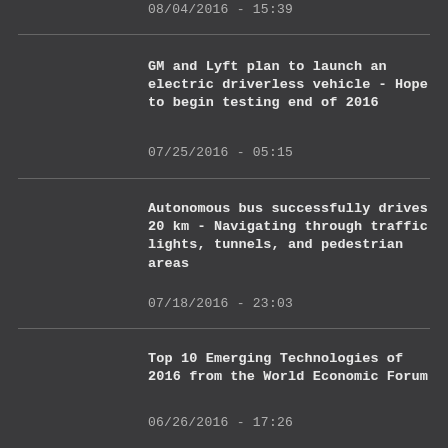08/04/2016 - 15:39
GM and Lyft plan to launch an electric driverless vehicle - Hope to begin testing end of 2016
07/25/2016 - 05:15
Autonomous bus successfully drives 20 km - Navigating through traffic lights, tunnels, and pedestrian areas
07/18/2016 - 23:03
Top 10 Emerging Technologies of 2016 from the World Economic Forum
06/26/2016 - 17:26